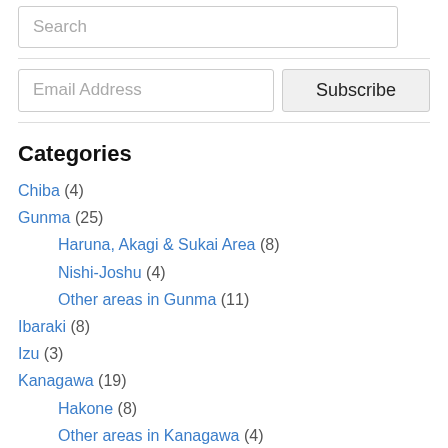Search
Email Address
Subscribe
Categories
Chiba (4)
Gunma (25)
Haruna, Akagi & Sukai Area (8)
Nishi-Joshu (4)
Other areas in Gunma (11)
Ibaraki (8)
Izu (3)
Kanagawa (19)
Hakone (8)
Other areas in Kanagawa (4)